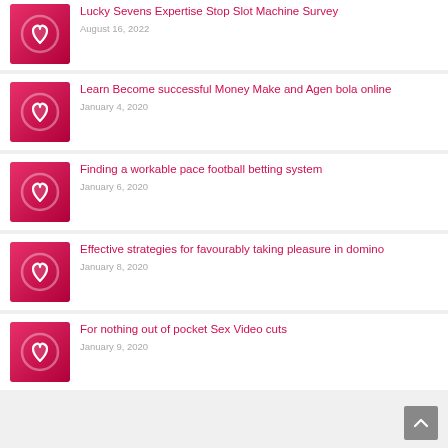Lucky Sevens Expertise Stop Slot Machine Survey
August 16, 2022
Learn Become successful Money Make and Agen bola online
January 4, 2020
Finding a workable pace football betting system
January 6, 2020
Effective strategies for favourably taking pleasure in domino
January 8, 2020
For nothing out of pocket Sex Video cuts
January 9, 2020